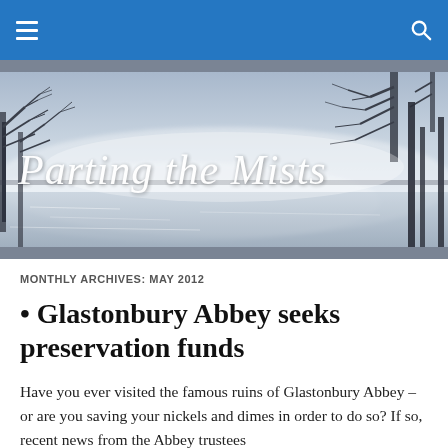Navigation bar with hamburger menu and search icon
[Figure (illustration): Misty winter landscape banner with bare trees and fog over water, with decorative text 'Parting the Mists' in white medieval-style lettering]
MONTHLY ARCHIVES: MAY 2012
• Glastonbury Abbey seeks preservation funds
Have you ever visited the famous ruins of Glastonbury Abbey – or are you saving your nickels and dimes in order to do so? If so, recent news from the Abbey trustees